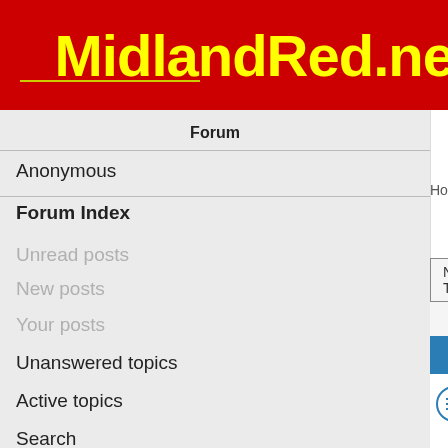[Figure (screenshot): MidlandRed.net forum website header with red background and yellow logo text]
MidlandRed.net
Forum
Anonymous
Forum Index
Unread posts
New posts
Your posts
Unanswered topics
Active topics
Search
FAQ
Home ‹ Forum Index ‹ ‹
New Topic    Search this forum...
Johnson sold to Diamond
Last post by AdamH « 21:27
Replies: 31
Last day of Johnsons 'Excelbus' in
Last post by DC54 « 19:14 Sa
Revised Worcester - Reddich servic